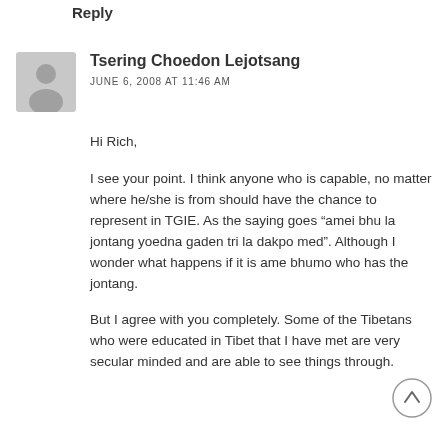Reply
[Figure (illustration): Gray avatar placeholder icon showing a silhouette of a person]
Tsering Choedon Lejotsang
JUNE 6, 2008 AT 11:46 AM
Hi Rich,
I see your point. I think anyone who is capable, no matter where he/she is from should have the chance to represent in TGIE. As the saying goes “amei bhu la jontang yoedna gaden tri la dakpo med”. Although I wonder what happens if it is ame bhumo who has the jontang.
But I agree with you completely. Some of the Tibetans who were educated in Tibet that I have met are very secular minded and are able to see things through.